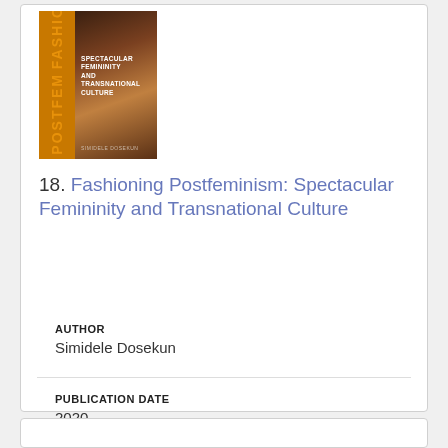[Figure (photo): Book cover of 'Fashion Postfeminism: Spectacular Femininity and Transnational Culture' by Simidele Dosekun. Dark background with orange vertical text and a close-up photo of a woman's face.]
18. Fashioning Postfeminism: Spectacular Femininity and Transnational Culture
AUTHOR
Simidele Dosekun
PUBLICATION DATE
2020